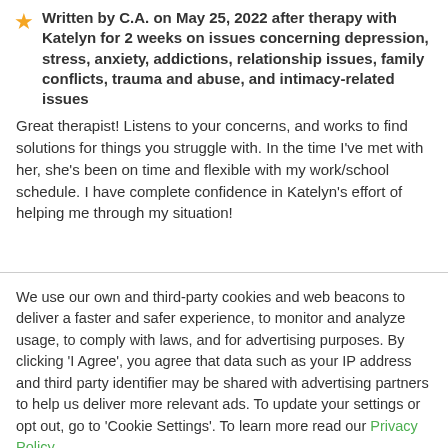Written by C.A. on May 25, 2022 after therapy with Katelyn for 2 weeks on issues concerning depression, stress, anxiety, addictions, relationship issues, family conflicts, trauma and abuse, and intimacy-related issues
Great therapist! Listens to your concerns, and works to find solutions for things you struggle with. In the time I've met with her, she's been on time and flexible with my work/school schedule. I have complete confidence in Katelyn's effort of helping me through my situation!
We use our own and third-party cookies and web beacons to deliver a faster and safer experience, to monitor and analyze usage, to comply with laws, and for advertising purposes. By clicking 'I Agree', you agree that data such as your IP address and third party identifier may be shared with advertising partners to help us deliver more relevant ads. To update your settings or opt out, go to 'Cookie Settings'. To learn more read our Privacy Policy.